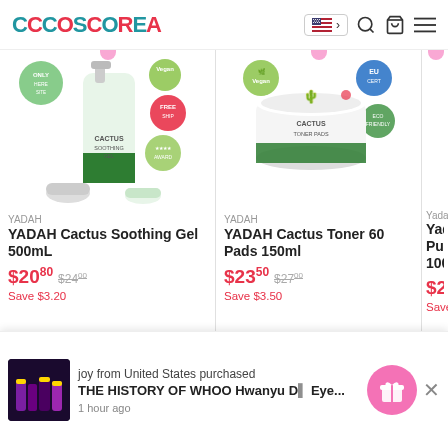CCOSCOREA - ecommerce website header with logo, US flag language selector, search icon, cart icon, menu icon
[Figure (screenshot): YADAH Cactus Soothing Gel 500mL product image with badges: Only, Vegan, Free, Awards]
YADAH
YADAH Cactus Soothing Gel 500mL
$20.80  $24.00  Save $3.20
[Figure (screenshot): YADAH Cactus Toner 60 Pads 150ml product image with Vegan badge]
YADAH
YADAH Cactus Toner 60 Pads 150ml
$23.50  $27.00  Save $3.50
[Figure (screenshot): Yadah Pure ... 100ml product image (partially visible)]
Yadah
Yadah Pure ... 100ml (partially visible)
$26... Save S...
joy from United States purchased THE HISTORY OF WHOO Hwanyu D... Eye... 1 hour ago